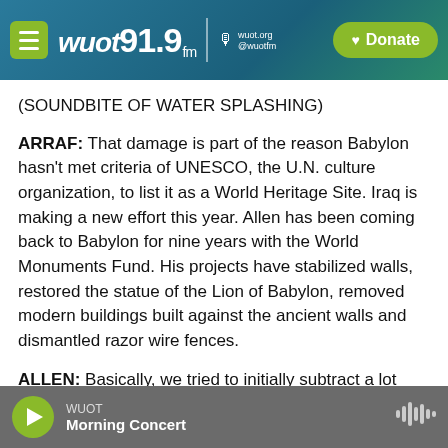WUOT 91.9 FM | Donate
(SOUNDBITE OF WATER SPLASHING)
ARRAF: That damage is part of the reason Babylon hasn't met criteria of UNESCO, the U.N. culture organization, to list it as a World Heritage Site. Iraq is making a new effort this year. Allen has been coming back to Babylon for nine years with the World Monuments Fund. His projects have stabilized walls, restored the statue of the Lion of Babylon, removed modern buildings built against the ancient walls and dismantled razor wire fences.
ALLEN: Basically, we tried to initially subtract a lot
WUOT  Morning Concert